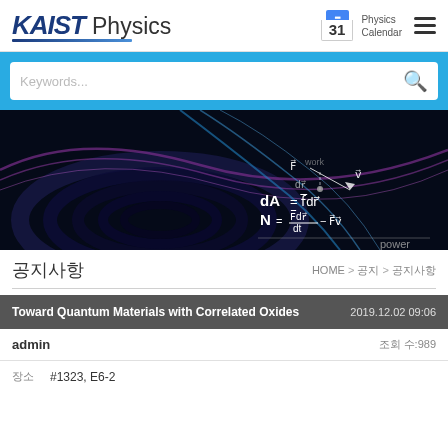KAIST Physics | Physics Calendar
[Figure (screenshot): Search bar with keyword input and search icon on blue background]
[Figure (photo): Abstract physics banner image with dark swirling waves and physics equations: dA = f·dr, N = (F·dr)/dt = F·v, labeled 'power']
공지사항
HOME > 공지 > 공지사항
Toward Quantum Materials with Correlated Oxides
2019.12.02 09:06
admin
조회 수:989
장소    #1323, E6-2